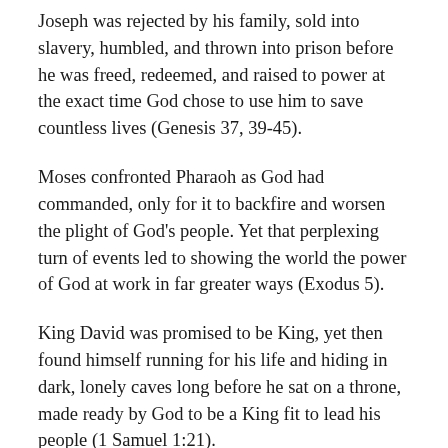Joseph was rejected by his family, sold into slavery, humbled, and thrown into prison before he was freed, redeemed, and raised to power at the exact time God chose to use him to save countless lives (Genesis 37, 39-45).
Moses confronted Pharaoh as God had commanded, only for it to backfire and worsen the plight of God's people. Yet that perplexing turn of events led to showing the world the power of God at work in far greater ways (Exodus 5).
King David was promised to be King, yet then found himself running for his life and hiding in dark, lonely caves long before he sat on a throne, made ready by God to be a King fit to lead his people (1 Samuel 1:21).
Ruth lost her husband, security, and homeland before she